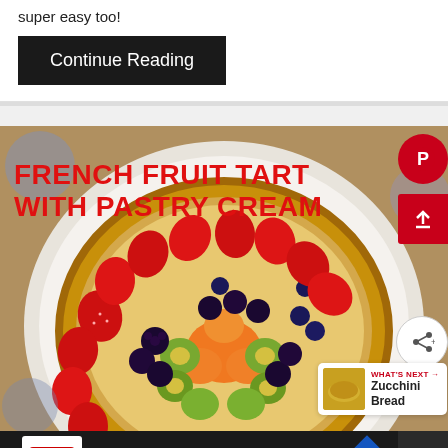super easy too!
Continue Reading
[Figure (photo): French Fruit Tart with Pastry Cream – overhead photo of a round fruit tart topped with strawberries, blackberries, blueberries, kiwi slices, and mandarin orange segments, on a white plate with floral background. Text overlay reads 'FRENCH FRUIT TART WITH PASTRY CREAM' in bold red letters. UI elements: Pinterest button, share/upload button, share+ button, What's Next panel showing Zucchini Bread.]
CVS® Epic Beauty Event
CVS Pharmacy